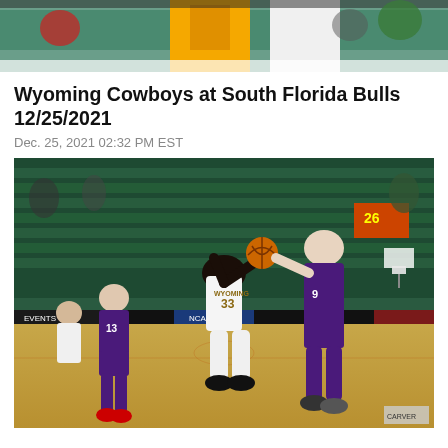[Figure (photo): Top cropped action photo of basketball players, one in yellow/gold jersey, one in white, with spectators in background]
Wyoming Cowboys at South Florida Bulls 12/25/2021
Dec. 25, 2021 02:32 PM EST
[Figure (photo): Wyoming Cowboys player #33 in white jersey driving to basket with basketball, defended by a player in purple jersey, another player #13 in purple in background, indoor arena court with green seats visible]